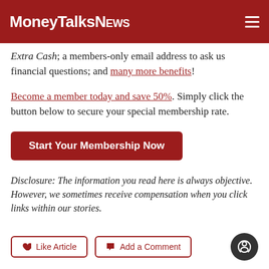MoneyTalksNews
Extra Cash; a members-only email address to ask us financial questions; and many more benefits!
Become a member today and save 50%. Simply click the button below to secure your special membership rate.
[Figure (other): Red button labeled 'Start Your Membership Now']
Disclosure: The information you read here is always objective. However, we sometimes receive compensation when you click links within our stories.
Like Article   Add a Comment